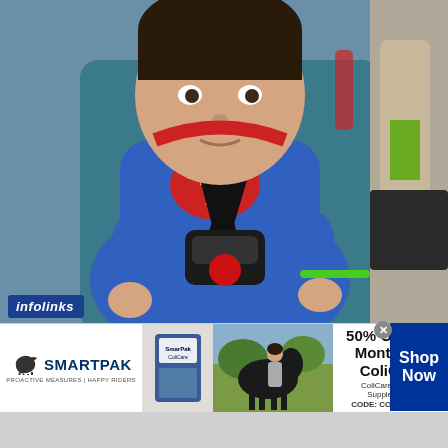[Figure (photo): A toddler dressed in a Superman costume sitting in a car seat, holding a green toy. The child has dark hair and the car seat appears teal/blue. Black harness straps cross the child's chest with a red chest clip.]
infolinks
[Figure (infographic): SmartPak advertisement banner. Shows SmartPak logo with horse icon on left, product supplement package image in center-left, horse and person photo in center, text reading '50% Off Two Months of ColiCare, ColiCare Eligible Supplements, CODE: COLICARE10' in center-right, and 'Shop Now' blue button on right.]